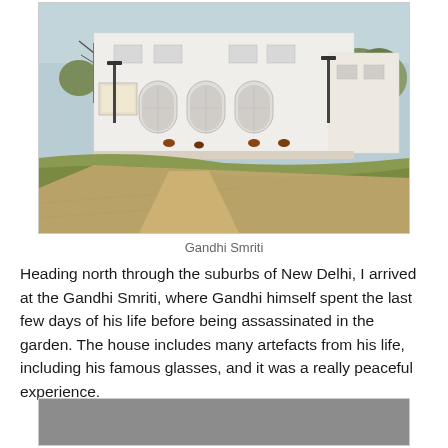[Figure (photo): Exterior view of Gandhi Smriti, a large white colonial-style building with arched windows, surrounded by green lawns and trees.]
Gandhi Smriti
Heading north through the suburbs of New Delhi, I arrived at the Gandhi Smriti, where Gandhi himself spent the last few days of his life before being assassinated in the garden. The house includes many artefacts from his life, including his famous glasses, and it was a really peaceful experience.
[Figure (photo): Partial view of another photo (grey/overcast scene), cropped at bottom of page.]